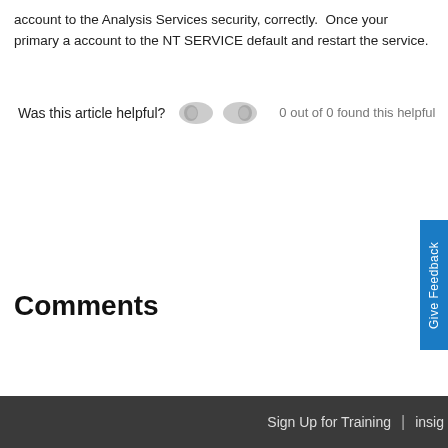account to the Analysis Services security, correctly.  Once your primary a account to the NT SERVICE default and restart the service.
Was this article helpful?  0 out of 0 found this helpful
Comments
Sign Up for Training  |  insig